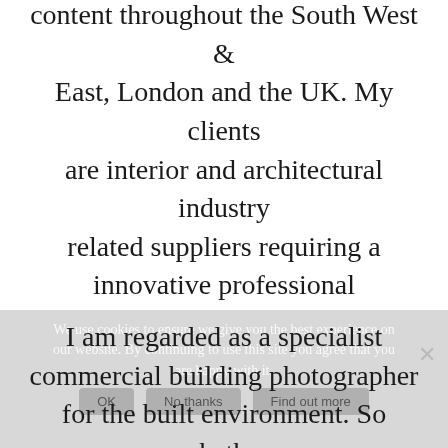content throughout the South West & East, London and the UK. My clients are interior and architectural industry related suppliers requiring a innovative professional photographer who can deliver big results quickly, with high quality and consistent photography. My tailor made photography solutions help penetrate new audience's and keep within marketing and budget requirements.
I am regarded as a specialist commercial building photographer for the built environment. So whether the architectural space focuses on the exterior or interior, I can provide